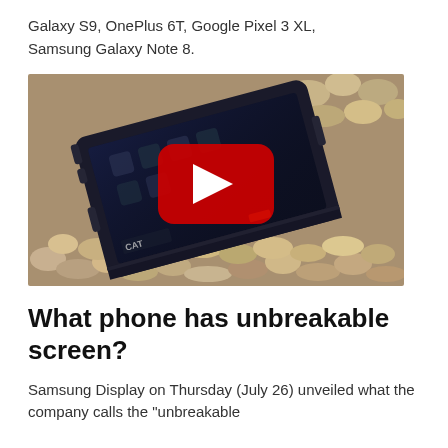Galaxy S9, OnePlus 6T, Google Pixel 3 XL, Samsung Galaxy Note 8.
[Figure (photo): A rugged CAT smartphone lying on pebbles/gravel background with a YouTube play button overlay in the center]
What phone has unbreakable screen?
Samsung Display on Thursday (July 26) unveiled what the company calls the "unbreakable